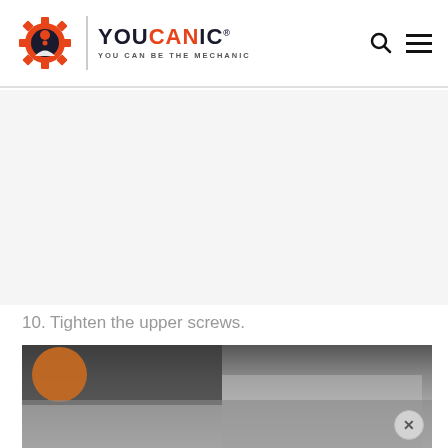[Figure (logo): YOUCANIC logo with red gear and wrench icon, brand name YOUCANIC in dark/red letters, tagline YOU CAN BE THE MECHANIC]
[Figure (other): Advertisement placeholder area (gray background)]
10. Tighten the upper screws.
[Figure (photo): Photograph of a mechanic tightening upper screws on a car engine, showing orange-gloved hands and dark engine components]